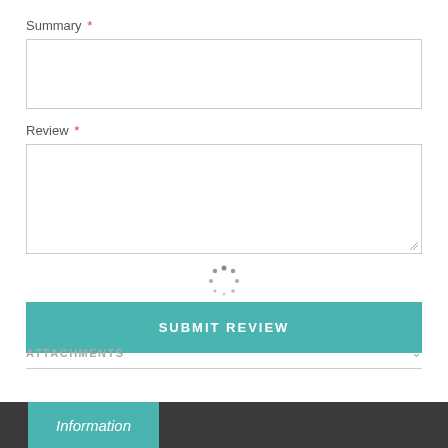Summary *
Review *
[Figure (other): Loading spinner — circular dots in gray]
SUBMIT REVIEW
ATTACHMENTS
Information